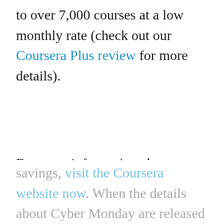to over 7,000 courses at a low monthly rate (check out our Coursera Plus review for more details).
For more information about current offers and savings, visit the Coursera website now. When the details about Cyber Monday are released